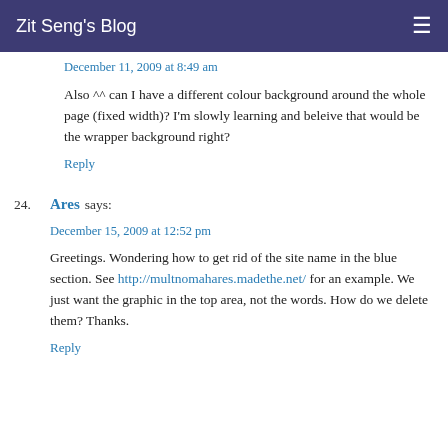Zit Seng's Blog
December 11, 2009 at 8:49 am
Also ^^ can I have a different colour background around the whole page (fixed width)? I'm slowly learning and beleive that would be the wrapper background right?
Reply
24. Ares says:
December 15, 2009 at 12:52 pm
Greetings. Wondering how to get rid of the site name in the blue section. See http://multnomahares.madethe.net/ for an example. We just want the graphic in the top area, not the words. How do we delete them? Thanks.
Reply